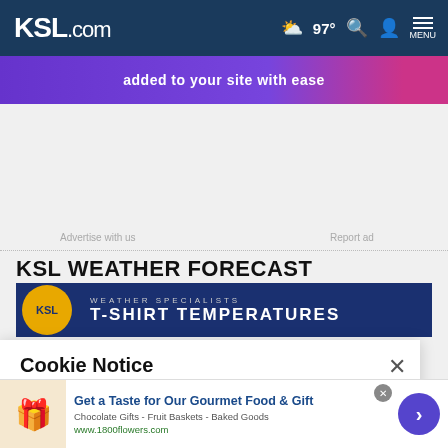KSL.com — 97° weather, Search, Account, MENU
[Figure (screenshot): Advertisement banner with purple/pink gradient: 'added to your site with ease']
Advertise with us
Report ad
KSL WEATHER FORECAST
[Figure (screenshot): KSL Weather Specialists banner showing 'T-SHIRT TEMPERATURES' on dark blue background with KSL logo]
Cookie Notice
We use cookies to improve your experience, analyze site traffic, and to personalize content and ads. By continuing to use our site, you consent to our use of cookies. Please visit our Terms of Use and Privacy Policy for more information
[Figure (screenshot): Bottom advertisement: 'Get a Taste for Our Gourmet Food & Gift' — Chocolate Gifts - Fruit Baskets - Baked Goods, www.1800flowers.com, with gift basket image and navigation arrow]